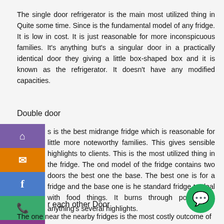The single door refrigerator is the main most utilized thing in Quite some time. Since is the fundamental model of any fridge. It is low in cost. It is just reasonable for more inconspicuous families. It's anything but's a singular door in a practically identical door they giving a little box-shaped box and it is known as the refrigerator. It doesn't have any modified capacities.
Double door
s is the best midrange fridge which is reasonable for little more noteworthy families. This gives sensible highlights to clients. This is the most utilized thing in the fridge. The ond model of the fridge contains two doors the best one the base. The best one is for a fridge and the base one is he standard fridge to deal with food things. It burns through power. It's anything's several highlights.
r each other Door
The one near the nearby fridges is the most costly outcome of